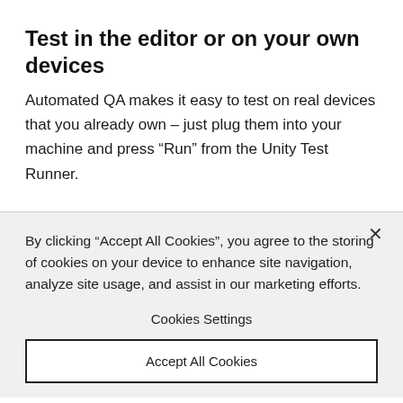Test in the editor or on your own devices
Automated QA makes it easy to test on real devices that you already own – just plug them into your machine and press “Run” from the Unity Test Runner.
By clicking “Accept All Cookies”, you agree to the storing of cookies on your device to enhance site navigation, analyze site usage, and assist in our marketing efforts.
Cookies Settings
Accept All Cookies